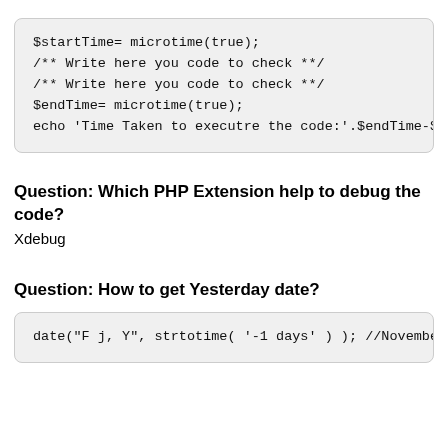$startTime= microtime(true);
/** Write here you code to check **/
/** Write here you code to check **/
$endTime= microtime(true);
echo 'Time Taken to executre the code:'.$endTime-$sta
Question: Which PHP Extension help to debug the code?
Xdebug
Question: How to get Yesterday date?
date("F j, Y", strtotime( '-1 days' ) ); //November 1: